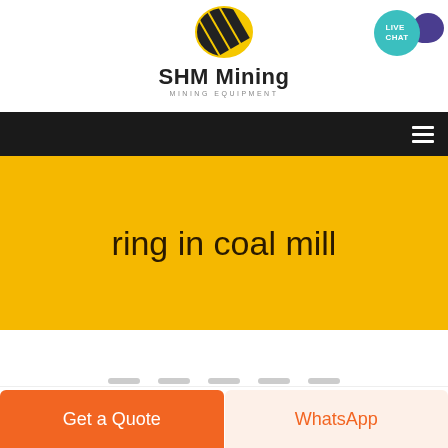[Figure (logo): SHM Mining logo with diagonal striped yellow and black icon above the text 'SHM Mining' and subtitle 'MINING EQUIPMENT']
ring in coal mill
Get a Quote
WhatsApp